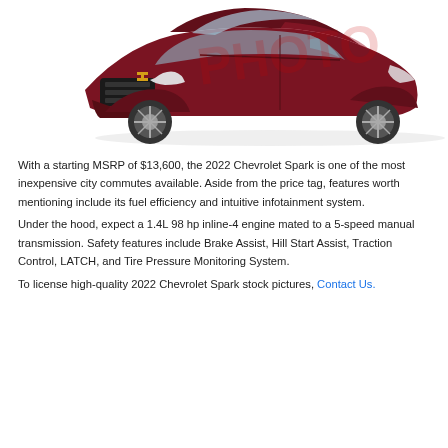[Figure (photo): Front three-quarter view of a 2022 Chevrolet Spark in dark red/maroon color on a white background, with a watermark overlay]
With a starting MSRP of $13,600, the 2022 Chevrolet Spark is one of the most inexpensive city commutes available. Aside from the price tag, features worth mentioning include its fuel efficiency and intuitive infotainment system.
Under the hood, expect a 1.4L 98 hp inline-4 engine mated to a 5-speed manual transmission. Safety features include Brake Assist, Hill Start Assist, Traction Control, LATCH, and Tire Pressure Monitoring System.
To license high-quality 2022 Chevrolet Spark stock pictures, Contact Us.